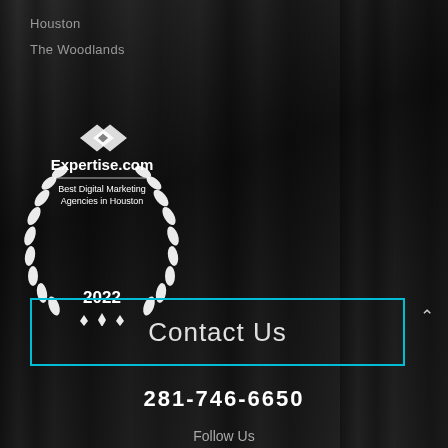Houston
The Woodlands
[Figure (logo): Expertise.com badge: Best Digital Marketing Agencies in Houston 2022, white laurel wreath design with diamond logo]
Contact Us
281-746-6650
Follow Us